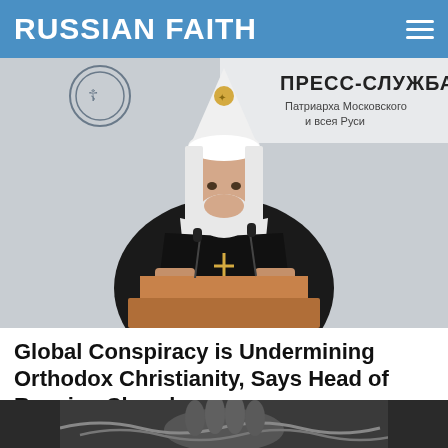RUSSIAN FAITH
[Figure (photo): Orthodox patriarch in white klobuk and black vestments standing at a wooden podium, with a banner reading ПРЕСС-СЛУЖБА Патриарха Московского и всея Руси in the background]
Global Conspiracy is Undermining Orthodox Christianity, Says Head of Russian Church
(RT) 🔥 1,376  💬 3
[Figure (photo): Close-up of hands holding chains or rosary beads, dark moody photograph]